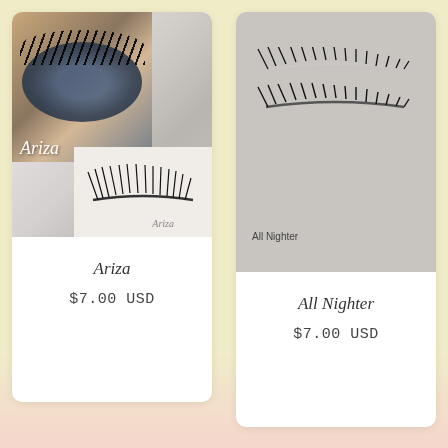[Figure (photo): Product card for 'Ariza' false eyelashes. Top section shows a collage: a close-up photo of an eye wearing the lashes labeled 'Ariza', a marble background, and a product shot of the lash strip labeled 'Ariza'.]
Ariza
$7.00 USD
[Figure (photo): Product card for 'All Nighter' false eyelashes. Image shows two lash strips on a grey background, labeled 'All Nighter'.]
All Nighter
$7.00 USD